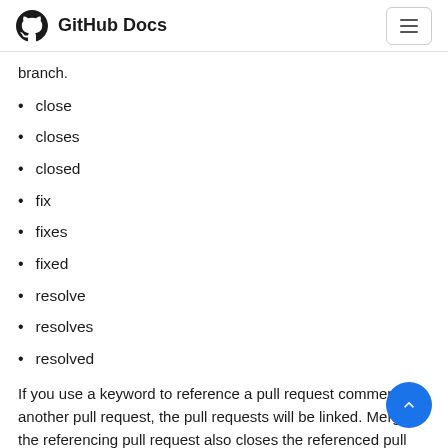GitHub Docs
branch.
close
closes
closed
fix
fixes
fixed
resolve
resolves
resolved
If you use a keyword to reference a pull request comment in another pull request, the pull requests will be linked. Merging the referencing pull request also closes the referenced pull request.